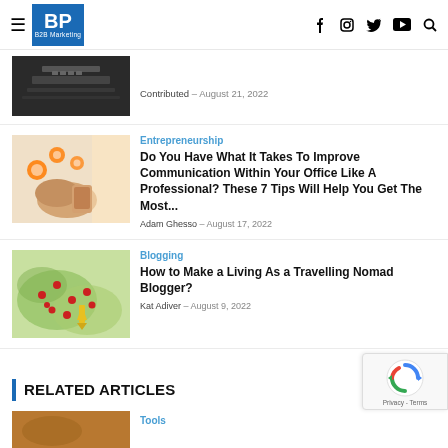BP B2B Marketing
Contributed - August 21, 2022
Entrepreneurship
Do You Have What It Takes To Improve Communication Within Your Office Like A Professional? These 7 Tips Will Help You Get The Most...
Adam Ghesso - August 17, 2022
Blogging
How to Make a Living As a Travelling Nomad Blogger?
Kat Adiver - August 9, 2022
RELATED ARTICLES
Tools